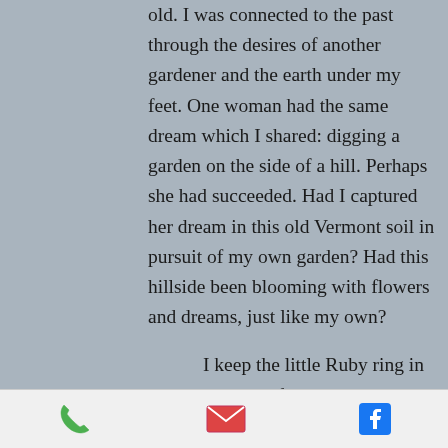old. I was connected to the past through the desires of another gardener and the earth under my feet. One woman had the same dream which I shared: digging a garden on the side of a hill. Perhaps she had succeeded. Had I captured her dream in this old Vermont soil in pursuit of my own garden? Had this hillside been blooming with flowers and dreams, just like my own?

I keep the little Ruby ring in a special niche of my jewelry box. Occasionally I take it out, examine it and place it gently on my finger.  It's deeply worn red stone, it's
[phone icon] [email icon] [facebook icon]